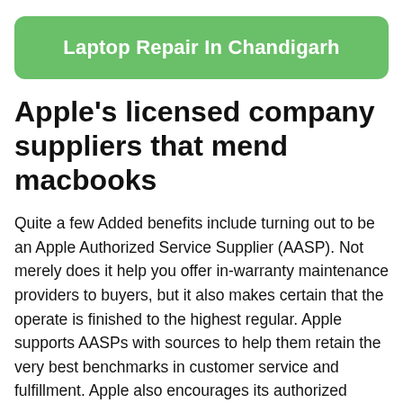Laptop Repair In Chandigarh
Apple's licensed company suppliers that mend macbooks
Quite a few Added benefits include turning out to be an Apple Authorized Service Supplier (AASP). Not merely does it help you offer in-warranty maintenance providers to buyers, but it also makes certain that the operate is finished to the highest regular. Apple supports AASPs with sources to help them retain the very best benchmarks in customer service and fulfillment. Apple also encourages its authorized provider vendors using a High quality Service Provider (PSP) standing right after some time.